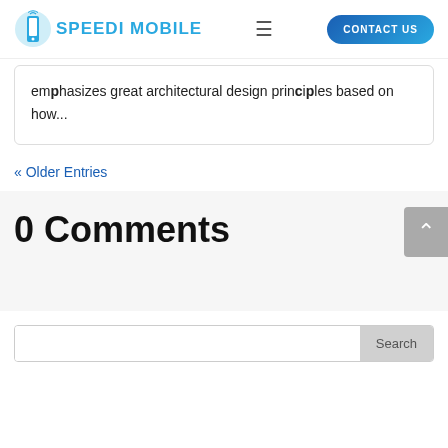Speedi Mobile — CONTACT US
emphasizes great architectural design principles based on how...
« Older Entries
0 Comments
Search